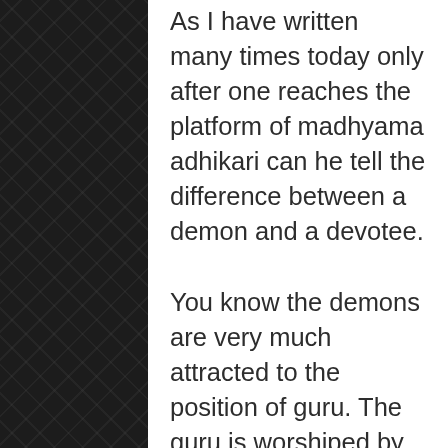As I have written many times today only after one reaches the platform of madhyama adhikari can he tell the difference between a demon and a devotee.

You know the demons are very much attracted to the position of guru. The guru is worshiped by the disciples as god. And the demons what to be worshiped like god, so in many cases the people who want to become gurus are doing it for some personal benefit, and this is demoniac. But the demons in many cases will be attached to performing austerities. Many demons believe in the Vedas and follow the Vedic principles to increase their demoniac strength.